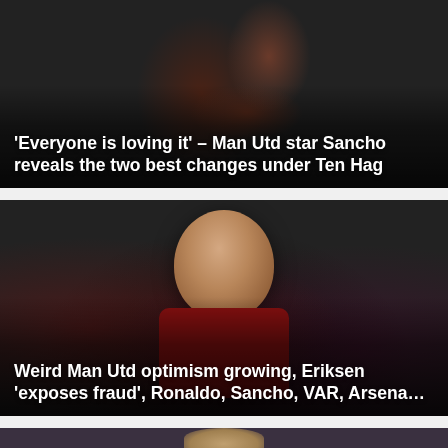[Figure (photo): Manchester United player in red jersey, dark atmospheric background]
'Everyone is loving it' – Man Utd star Sancho reveals the two best changes under Ten Hag
[Figure (photo): Christian Eriksen in Manchester United red jersey with Premier League badge, applauding, blurred crowd background]
Weird Man Utd optimism growing, Eriksen 'exposes fraud', Ronaldo, Sancho, VAR, Arsena…
[Figure (photo): Partial view of a person's head at bottom of page, cropped]